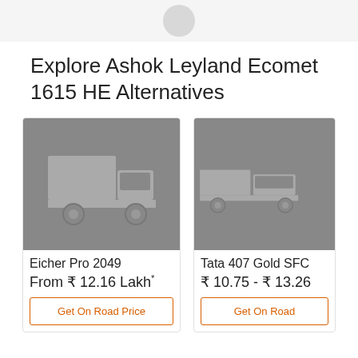[Figure (other): Spinner/loading circle at top of page]
Explore Ashok Leyland Ecomet 1615 HE Alternatives
[Figure (illustration): Eicher Pro 2049 truck placeholder image on grey background]
Eicher Pro 2049
From ₹ 12.16 Lakh*
Get On Road Price
[Figure (illustration): Tata 407 Gold SFC truck placeholder image on grey background (partially visible)]
Tata 407 Gold SFC
₹ 10.75 - ₹ 13.26
Get On Road